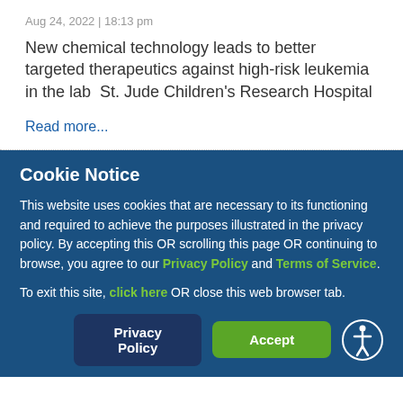Aug 24, 2022 | 18:13 pm
New chemical technology leads to better targeted therapeutics against high-risk leukemia in the lab  St. Jude Children's Research Hospital
Read more...
Cookie Notice
This website uses cookies that are necessary to its functioning and required to achieve the purposes illustrated in the privacy policy. By accepting this OR scrolling this page OR continuing to browse, you agree to our Privacy Policy and Terms of Service.
To exit this site, click here OR close this web browser tab.
Privacy Policy  Accept